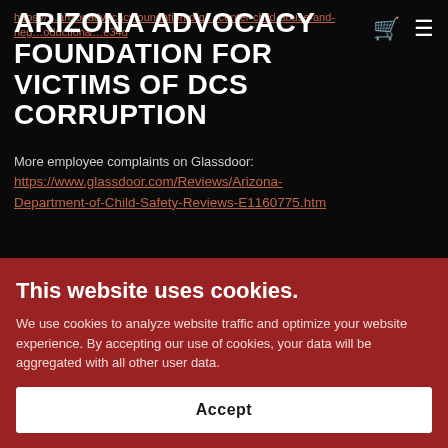ARIZONA ADVOCACY FOUNDATION FOR VICTIMS OF DCS CORRUPTION
https://www.glassdoor.com/Reviews/Arizona-Department-of-Child-Safety-Reviews-E1160775.htm
More employee complaints on Glassdoor:
This website uses cookies.
We use cookies to analyze website traffic and optimize your website experience. By accepting our use of cookies, your data will be aggregated with all other user data.
Accept